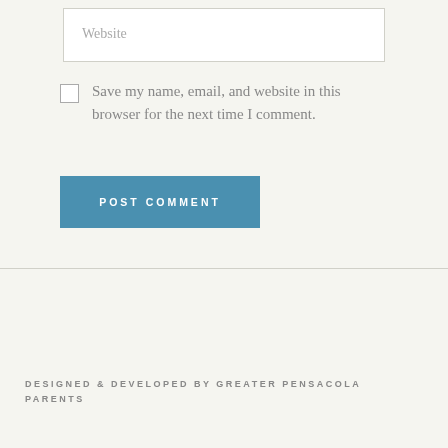Website
Save my name, email, and website in this browser for the next time I comment.
POST COMMENT
DESIGNED & DEVELOPED BY GREATER PENSACOLA PARENTS